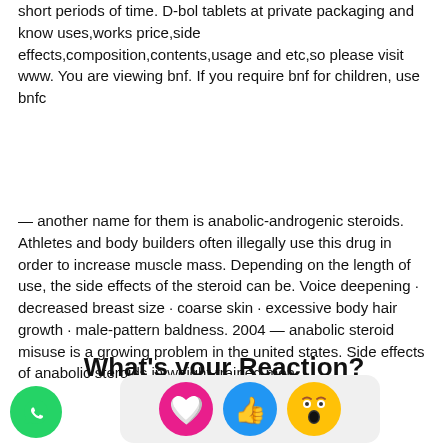short periods of time. D-bol tablets at private packaging and know uses,works price,side effects,composition,contents,usage and etc,so please visit www. You are viewing bnf. If you require bnf for children, use bnfc
— another name for them is anabolic-androgenic steroids. Athletes and body builders often illegally use this drug in order to increase muscle mass. Depending on the length of use, the side effects of the steroid can be. Voice deepening · decreased breast size · coarse skin · excessive body hair growth · male-pattern baldness. 2004 — anabolic steroid misuse is a growing problem in the united states. Side effects of anabolic steroids in weight-trained men
What's your Reaction?
[Figure (illustration): WhatsApp contact button (green circle with phone icon) at bottom left, and three emoji reaction icons (love heart, thumbs up, surprised face) on a grey pill-shaped background at bottom right]